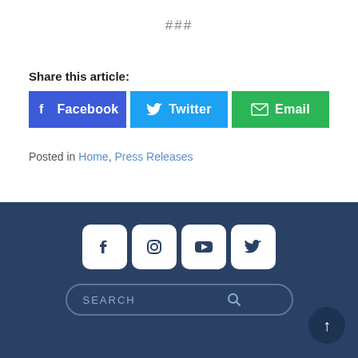###
Share this article:
[Figure (other): Three share buttons: Facebook (blue), Twitter (light blue), Email (green)]
Posted in Home, Press Releases
[Figure (other): Footer with social media icons (Facebook, Instagram, YouTube, Twitter), a search bar, and a scroll-to-top button]